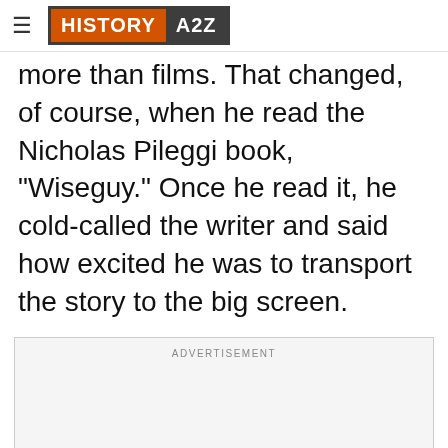HISTORY A2Z
more than films. That changed, of course, when he read the Nicholas Pileggi book, "Wiseguy." Once he read it, he cold-called the writer and said how excited he was to transport the story to the big screen.
[Figure (other): Advertisement placeholder box with label ADVERTISEMENT]